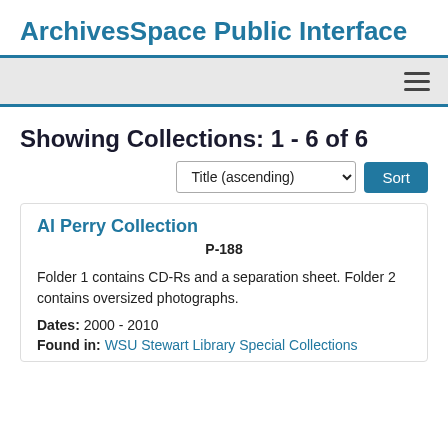ArchivesSpace Public Interface
Showing Collections: 1 - 6 of 6
Title (ascending) Sort
Al Perry Collection
P-188
Folder 1 contains CD-Rs and a separation sheet. Folder 2 contains oversized photographs.
Dates: 2000 - 2010
Found in: WSU Stewart Library Special Collections